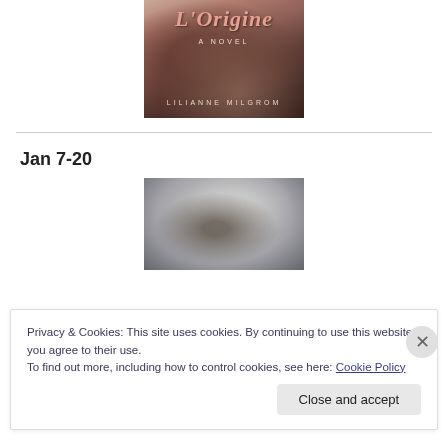[Figure (photo): Book cover of 'L'Origine: A Novel' by Lilianne Milgrom, with dark reddish-brown tones and flowing hair imagery]
Jan 7-20
[Figure (photo): Blurred/abstract photograph with silver and dark tones, possibly a reflective surface with a figure]
Privacy & Cookies: This site uses cookies. By continuing to use this website, you agree to their use.
To find out more, including how to control cookies, see here: Cookie Policy
Close and accept